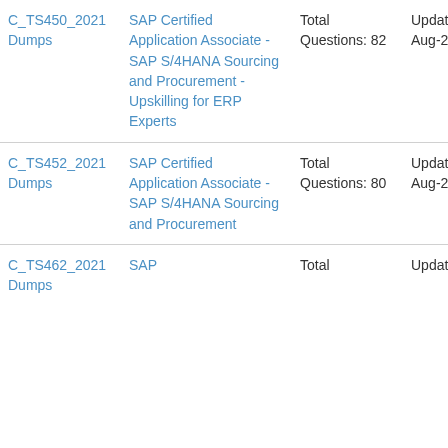| Exam | Title | Questions | Updated | Action |
| --- | --- | --- | --- | --- |
| C_TS450_2021 Dumps | SAP Certified Application Associate - SAP S/4HANA Sourcing and Procurement - Upskilling for ERP Experts | Total Questions: 82 | Updated: 13-Aug-2022 | Buy Now |
| C_TS452_2021 Dumps | SAP Certified Application Associate - SAP S/4HANA Sourcing and Procurement | Total Questions: 80 | Updated: 13-Aug-2022 | Buy Now |
| C_TS462_2021 Dumps | SAP | Total | Updated: | Buy |